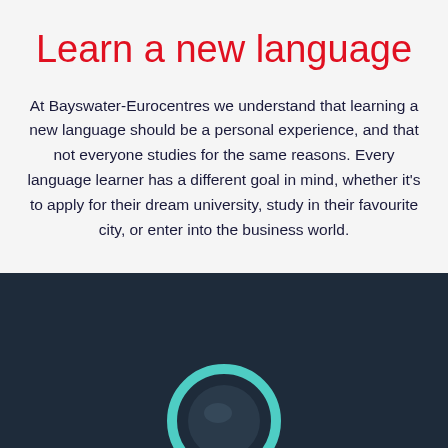Learn a new language
At Bayswater-Eurocentres we understand that learning a new language should be a personal experience, and that not everyone studies for the same reasons. Every language learner has a different goal in mind, whether it's to apply for their dream university, study in their favourite city, or enter into the business world.
[Figure (illustration): Dark navy/teal background panel with a teal circular ring shape and a dark sphere/button in the center, resembling a video play button interface.]